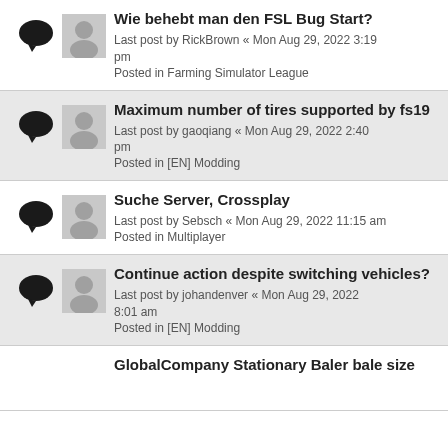Wie behebt man den FSL Bug Start? Last post by RickBrown « Mon Aug 29, 2022 3:19 pm Posted in Farming Simulator League
Maximum number of tires supported by fs19 Last post by gaoqiang « Mon Aug 29, 2022 2:40 pm Posted in [EN] Modding
Suche Server, Crossplay Last post by Sebsch « Mon Aug 29, 2022 11:15 am Posted in Multiplayer
Continue action despite switching vehicles? Last post by johandenver « Mon Aug 29, 2022 8:01 am Posted in [EN] Modding
GlobalCompany Stationary Baler bale size